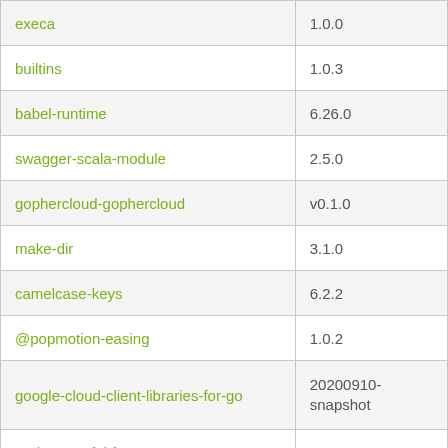| execa | 1.0.0 |
| builtins | 1.0.3 |
| babel-runtime | 6.26.0 |
| swagger-scala-module | 2.5.0 |
| gophercloud-gophercloud | v0.1.0 |
| make-dir | 3.1.0 |
| camelcase-keys | 6.2.2 |
| @popmotion-easing | 1.0.2 |
| google-cloud-client-libraries-for-go | 20200910-snapshot |
| node-graceful-fs | 4.2.8 |